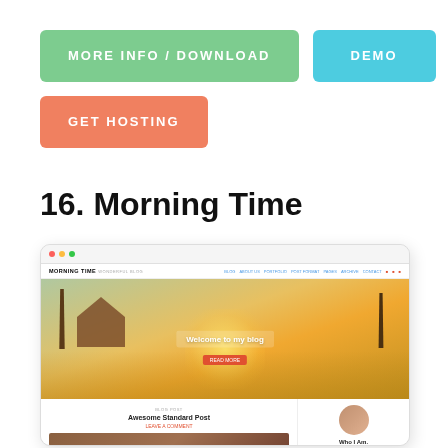[Figure (screenshot): Green button labeled MORE INFO / DOWNLOAD, blue button labeled DEMO, salmon/orange button labeled GET HOSTING]
16. Morning Time
[Figure (screenshot): Browser mockup showing the Morning Time WordPress blog theme with a hero image of a barn at sunrise, navigation bar, welcome text overlay, and below-fold post/sidebar preview]